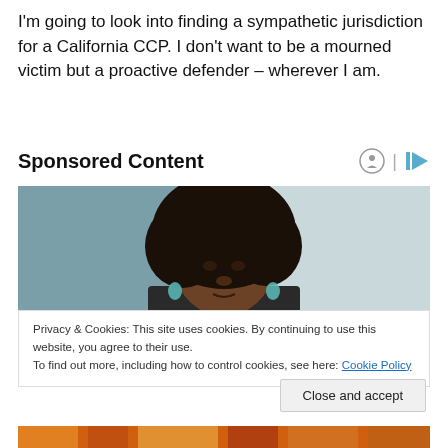I'm going to look into finding a sympathetic jurisdiction for a California CCP. I don't want to be a mourned victim but a proactive defender – wherever I am.
Sponsored Content
[Figure (photo): Portrait photo of a young Black woman with curly hair and teal earrings against a muted teal-gray background]
Privacy & Cookies: This site uses cookies. By continuing to use this website, you agree to their use.
To find out more, including how to control cookies, see here: Cookie Policy
Close and accept
[Figure (photo): Bottom strip showing colorful fabric or textile pattern in orange tones]